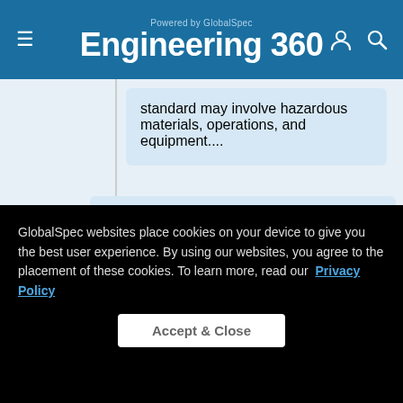Powered by GlobalSpec Engineering 360
standard may involve hazardous materials, operations, and equipment....
AASHTO T 312    January 1, 2012
Standard Method of Test for Preparing and Determining the Density of Hot Mix Asphalt (HMA) Specimens by Means of the Superpave Gyratory Compactor
This standard covers the correction of
GlobalSpec websites place cookies on your device to give you the best user experience. By using our websites, you agree to the placement of these cookies. To learn more, read our Privacy Policy
Accept & Close